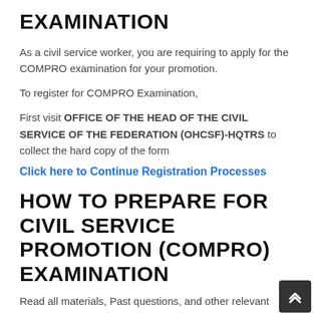EXAMINATION
As a civil service worker, you are requiring to apply for the COMPRO examination for your promotion.
To register for COMPRO Examination,
First visit OFFICE OF THE HEAD OF THE CIVIL SERVICE OF THE FEDERATION (OHCSF)-HQTRS to collect the hard copy of the form
Click here to Continue Registration Processes
HOW TO PREPARE FOR CIVIL SERVICE PROMOTION (COMPRO) EXAMINATION
Read all materials, Past questions, and other relevant materials